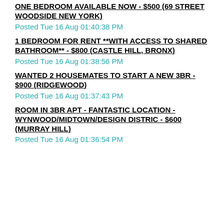ONE BEDROOM AVAILABLE NOW - $500 (69 STREET WOODSIDE NEW YORK)
Posted Tue 16 Aug 01:40:38 PM
1 BEDROOM FOR RENT **WITH ACCESS TO SHARED BATHROOM** - $800 (CASTLE HILL, BRONX)
Posted Tue 16 Aug 01:38:56 PM
WANTED 2 HOUSEMATES TO START A NEW 3BR - $900 (RIDGEWOOD)
Posted Tue 16 Aug 01:37:43 PM
ROOM IN 3BR APT - FANTASTIC LOCATION - WYNWOOD/MIDTOWN/DESIGN DISTRIC - $600 (MURRAY HILL)
Posted Tue 16 Aug 01:36:54 PM